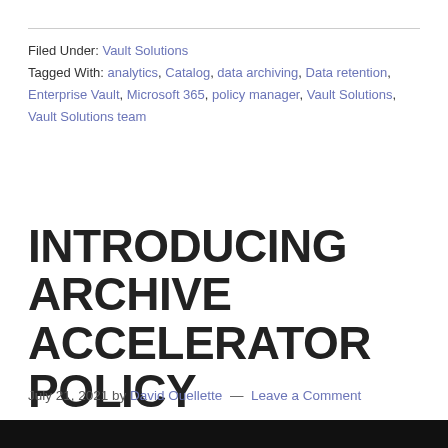Filed Under: Vault Solutions
Tagged With: analytics, Catalog, data archiving, Data retention, Enterprise Vault, Microsoft 365, policy manager, Vault Solutions, Vault Solutions team
INTRODUCING ARCHIVE ACCELERATOR POLICY MANAGER
July 21, 2021 by David Ouellette — Leave a Comment